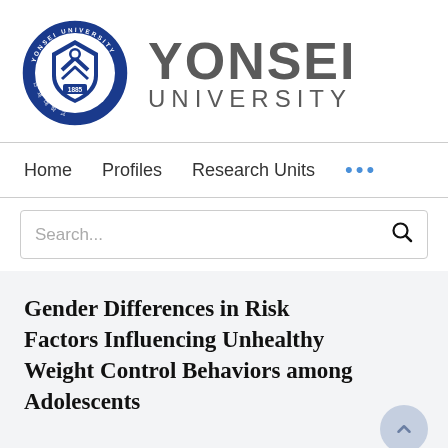[Figure (logo): Yonsei University logo: circular seal in navy blue with shield, torch, and Korean text '연세대학교' and '1885', alongside the text 'YONSEI UNIVERSITY' in large gray letters]
Home   Profiles   Research Units   ...
Search...
Gender Differences in Risk Factors Influencing Unhealthy Weight Control Behaviors among Adolescents